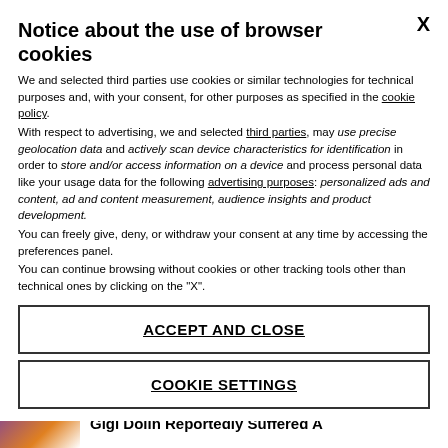Notice about the use of browser cookies
We and selected third parties use cookies or similar technologies for technical purposes and, with your consent, for other purposes as specified in the cookie policy.
With respect to advertising, we and selected third parties, may use precise geolocation data and actively scan device characteristics for identification in order to store and/or access information on a device and process personal data like your usage data for the following advertising purposes: personalized ads and content, ad and content measurement, audience insights and product development.
You can freely give, deny, or withdraw your consent at any time by accessing the preferences panel.
You can continue browsing without cookies or other tracking tools other than technical ones by clicking on the "X".
ACCEPT AND CLOSE
COOKIE SETTINGS
[Figure (photo): News article thumbnail showing a person with headline: Gigi Dolin Reportedly Suffered A]